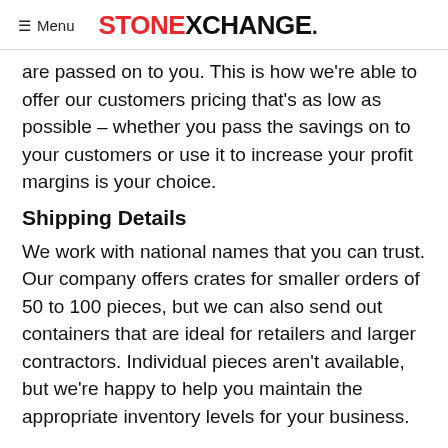≡ Menu  STONEXCHANGE.
are passed on to you. This is how we're able to offer our customers pricing that's as low as possible – whether you pass the savings on to your customers or use it to increase your profit margins is your choice.
Shipping Details
We work with national names that you can trust. Our company offers crates for smaller orders of 50 to 100 pieces, but we can also send out containers that are ideal for retailers and larger contractors. Individual pieces aren't available, but we're happy to help you maintain the appropriate inventory levels for your business.